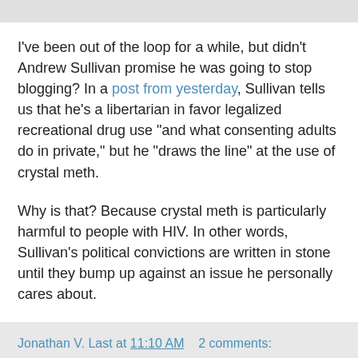I've been out of the loop for a while, but didn't Andrew Sullivan promise he was going to stop blogging? In a post from yesterday, Sullivan tells us that he's a libertarian in favor legalized recreational drug use "and what consenting adults do in private," but he "draws the line" at the use of crystal meth.
Why is that? Because crystal meth is particularly harmful to people with HIV. In other words, Sullivan's political convictions are written in stone until they bump up against an issue he personally cares about.
Jonathan V. Last at 11:10 AM    2 comments:
Ninety and change
How can a magazine be like a forgetful husband? The new